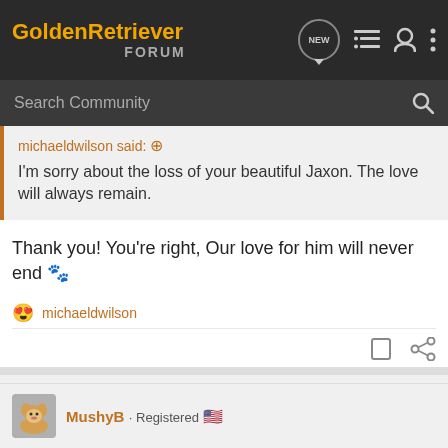GoldenRetriever FORUM
Search Community
michaeldwilson said: ↑
I'm sorry about the loss of your beautiful Jaxon. The love will always remain.
Thank you! You're right, Our love for him will never end 🐾
😍 michaeldwilson
MushyB · Registered 🇺🇸